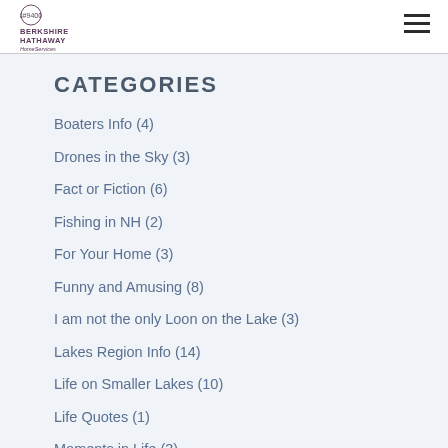Berkshire Hathaway HomeServices Verani Realty
CATEGORIES
Boaters Info (4)
Drones in the Sky (3)
Fact or Fiction (6)
Fishing in NH (2)
For Your Home (3)
Funny and Amusing (8)
I am not the only Loon on the Lake (3)
Lakes Region Info (14)
Life on Smaller Lakes (10)
Life Quotes (1)
Moments in Life (3)
New Hampshire Happenings (15)